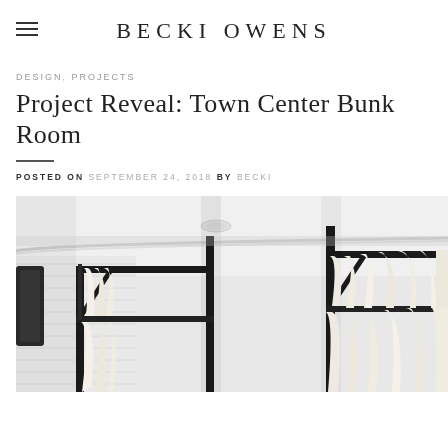BECKI OWENS
DESIGN, PROJECTS
Project Reveal: Town Center Bunk Room
POSTED ON SEPTEMBER 24, 2018 BY BECKI
[Figure (photo): Interior photo of a bunk room showing white shiplap walls, black metal bunk bed frames with curtain rods and white/cream curtains draped over the bunks, and a white ceiling with crown molding. The photo is taken from a low angle looking up and across the room.]